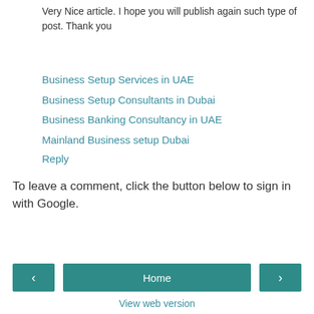Very Nice article. I hope you will publish again such type of post. Thank you
Business Setup Services in UAE
Business Setup Consultants in Dubai
Business Banking Consultancy in UAE
Mainland Business setup Dubai
Reply
To leave a comment, click the button below to sign in with Google.
SIGN IN WITH GOOGLE
Home
View web version
About Me